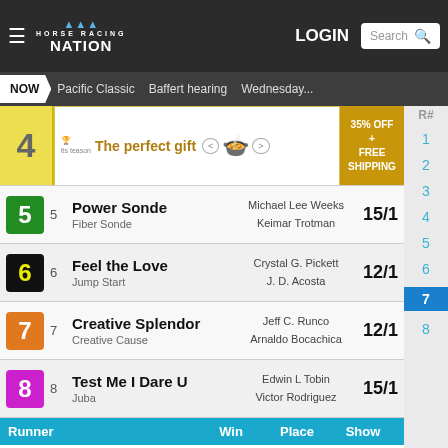Horse Racing Nation — NOW | Pacific Classic | Baffert hearing | Wednesday...
[Figure (screenshot): Advertisement banner: 'The perfect gift' with food imagery and '35% OFF + FREE SHIPPING']
5 Power Sonde / Fiber Sonde — Michael Lee Weeks / Keimar Trotman — 15/1
6 Feel the Love / Jump Start — Crystal G. Pickett / J. D. Acosta — 12/1
7 Creative Splendor / Creative Cause — Jeff C. Runco / Arnaldo Bocachica — 12/1
8 Test Me I Dare U / Juba — Edwin L Tobin / Victor Rodriguez — 15/1
| Runner | Win | Place | Show |
| --- | --- | --- | --- |
| Sonde Affair [2] | $11.80 | $4.60 | $3.60 |